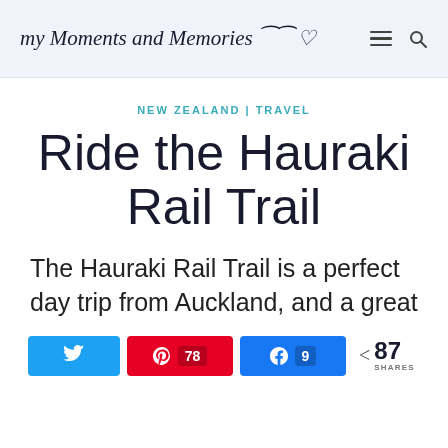my Moments and Memories
NEW ZEALAND | TRAVEL
Ride the Hauraki Rail Trail
The Hauraki Rail Trail is a perfect day trip from Auckland, and a great
Twitter share button | Pinterest 78 | Facebook 9 | < 87 SHARES